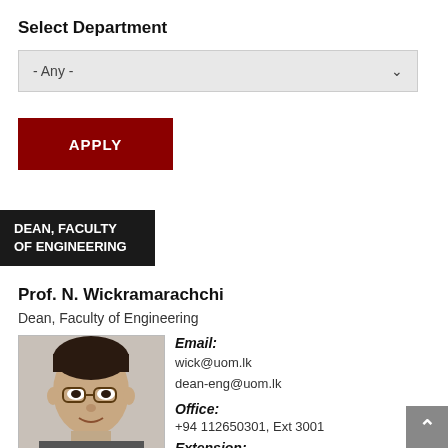Select Department
- Any -
APPLY
DEAN, FACULTY OF ENGINEERING
Prof. N. Wickramarachchi
Dean, Faculty of Engineering
[Figure (photo): Headshot photo of Prof. N. Wickramarachchi, a man with glasses]
Email: wick@uom.lk dean-eng@uom.lk Office: +94 112650301, Ext 3001 Extension: